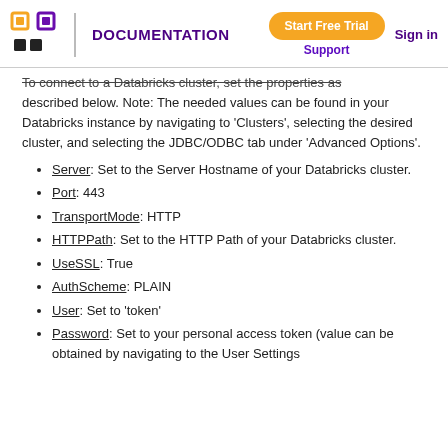DOCUMENTATION | Start Free Trial | Support | Sign in
To connect to a Databricks cluster, set the properties as described below. Note: The needed values can be found in your Databricks instance by navigating to 'Clusters', selecting the desired cluster, and selecting the JDBC/ODBC tab under 'Advanced Options'.
Server: Set to the Server Hostname of your Databricks cluster.
Port: 443
TransportMode: HTTP
HTTPPath: Set to the HTTP Path of your Databricks cluster.
UseSSL: True
AuthScheme: PLAIN
User: Set to 'token'
Password: Set to your personal access token (value can be obtained by navigating to the User Settings